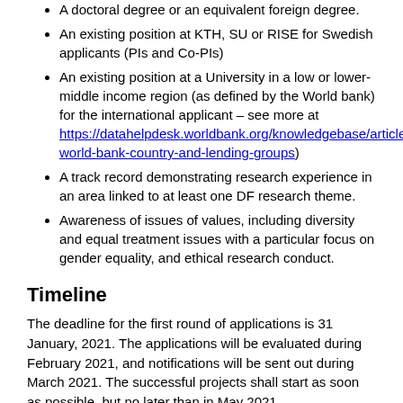A doctoral degree or an equivalent foreign degree.
An existing position at KTH, SU or RISE for Swedish applicants (PIs and Co-PIs)
An existing position at a University in a low or lower-middle income region (as defined by the World bank) for the international applicant – see more at https://datahelpdesk.worldbank.org/knowledgebase/articles/906519-world-bank-country-and-lending-groups)
A track record demonstrating research experience in an area linked to at least one DF research theme.
Awareness of issues of values, including diversity and equal treatment issues with a particular focus on gender equality, and ethical research conduct.
Timeline
The deadline for the first round of applications is 31 January, 2021. The applications will be evaluated during February 2021, and notifications will be sent out during March 2021. The successful projects shall start as soon as possible, but no later than in May 2021.